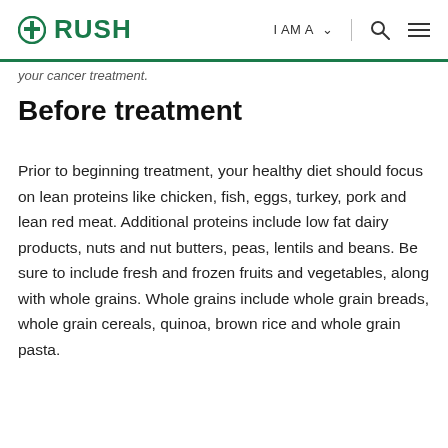RUSH | I AM A ▾ | 🔍 ☰
your cancer treatment.
Before treatment
Prior to beginning treatment, your healthy diet should focus on lean proteins like chicken, fish, eggs, turkey, pork and lean red meat. Additional proteins include low fat dairy products, nuts and nut butters, peas, lentils and beans. Be sure to include fresh and frozen fruits and vegetables, along with whole grains. Whole grains include whole grain breads, whole grain cereals, quinoa, brown rice and whole grain pasta.